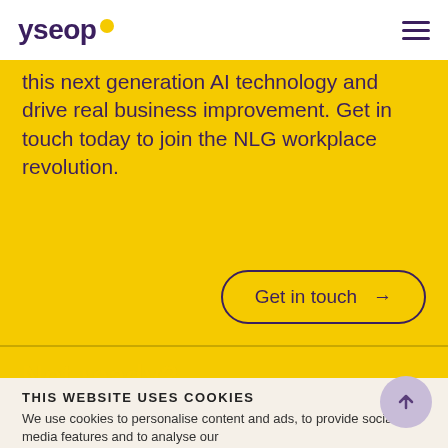[Figure (logo): yseop logo with yellow dot accent and purple text]
this next generation AI technology and drive real business improvement. Get in touch today to join the NLG workplace revolution.
Get in touch →
Not ready?
THIS WEBSITE USES COOKIES
We use cookies to personalise content and ads, to provide social media features and to analyse our